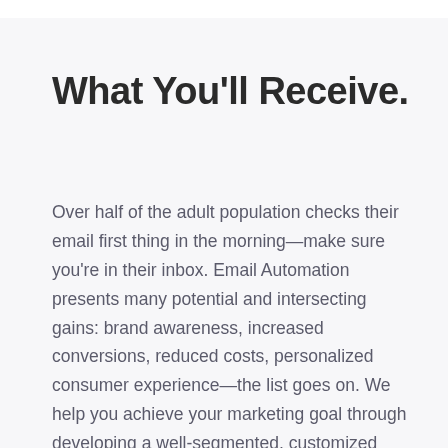What You'll Receive.
Over half of the adult population checks their email first thing in the morning—make sure you're in their inbox. Email Automation presents many potential and intersecting gains: brand awareness, increased conversions, reduced costs, personalized consumer experience—the list goes on. We help you achieve your marketing goal through developing a well-segmented, customized email campaign with seamless design and content that grabs the attention of new and old customers.